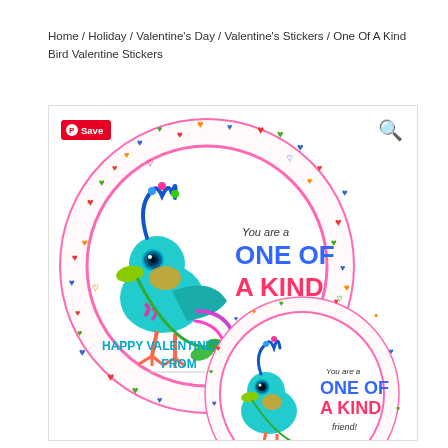Home / Holiday / Valentine's Day / Valentine's Stickers / One Of A Kind Bird Valentine Stickers
[Figure (photo): Two round Valentine's Day stickers featuring a colorful cartoon bird with the text 'You are a ONE OF A KIND friend! HAPPY VALENTINE'S DAY! FROM'. One sticker is large and full, the second is smaller with a curled corner, both surrounded by colorful hearts border.]